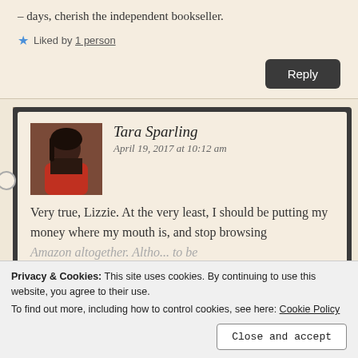– days, cherish the independent bookseller.
Liked by 1 person
Reply
Tara Sparling
April 19, 2017 at 10:12 am
Very true, Lizzie. At the very least, I should be putting my money where my mouth is, and stop browsing Amazon altogether. Altho...
Privacy & Cookies: This site uses cookies. By continuing to use this website, you agree to their use. To find out more, including how to control cookies, see here: Cookie Policy
Close and accept